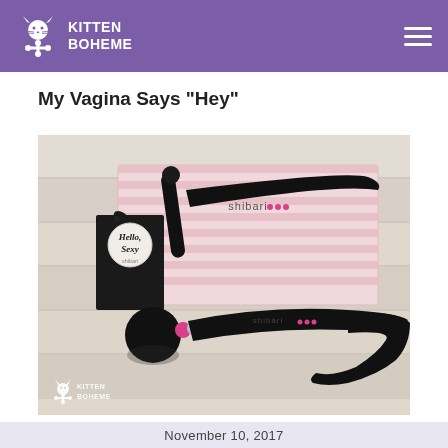KITTEN BOHEME
My Vagina Says "Hey"
[Figure (photo): Product photo of a black wand massager labeled 'shibari' beside its pink and black retail box reading 'Hello Sexy' with the Shibari Wand Massager branding, on a white wood surface. Kitten Boheme watermark logo in bottom left corner.]
November 10, 2017